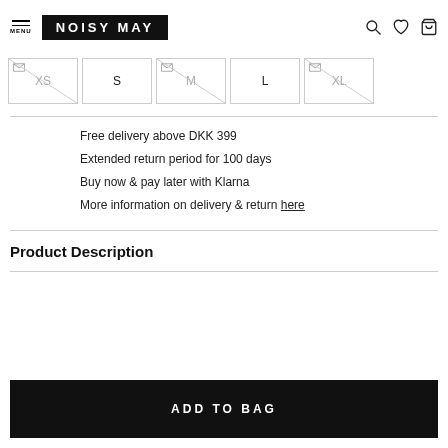MENU | NOISY MAY
[Figure (screenshot): Size selector row with XS, S, M, L, XL boxes. XS, M, XL show mail/notify icon with diagonal strikethrough (out of stock). S and L are available.]
Free delivery above DKK 399
Extended return period for 100 days
Buy now & pay later with Klarna
More information on delivery & return here
Product Description
ADD TO BAG